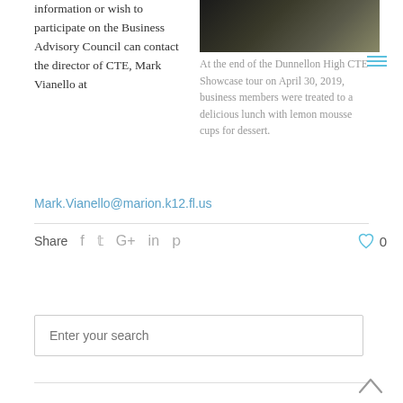information or wish to participate on the Business Advisory Council can contact the director of CTE, Mark Vianello at
[Figure (photo): Close-up photo of what appears to be plates or dishes on a dark background]
At the end of the Dunnellon High CTE Showcase tour on April 30, 2019, business members were treated to a delicious lunch with lemon mousse cups for dessert.
Mark.Vianello@marion.k12.fl.us
Share
Enter your search